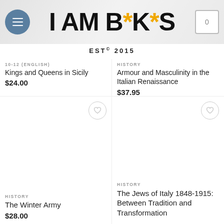I AM BOOKS EST© 2015
10-12 (ENGLISH)
Kings and Queens in Sicily
$24.00
HISTORY
Armour and Masculinity in the Italian Renaissance
$37.95
HISTORY
The Winter Army
$28.00
HISTORY
The Jews of Italy 1848-1915: Between Tradition and Transformation